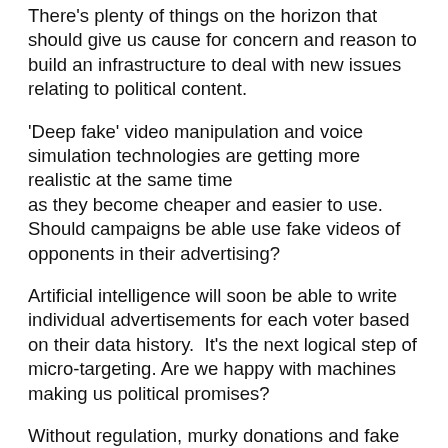There's plenty of things on the horizon that should give us cause for concern and reason to build an infrastructure to deal with new issues relating to political content.
'Deep fake' video manipulation and voice simulation technologies are getting more realistic at the same time as they become cheaper and easier to use.  Should campaigns be able use fake videos of opponents in their advertising?
Artificial intelligence will soon be able to write individual advertisements for each voter based on their data history.  It's the next logical step of micro-targeting. Are we happy with machines making us political promises?
Without regulation, murky donations and fake news soon begin to look quite quaint.